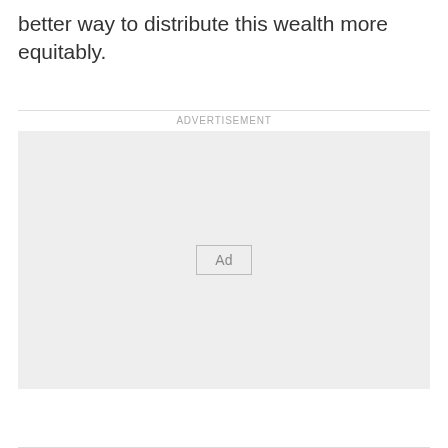better way to distribute this wealth more equitably.
[Figure (other): Advertisement placeholder box with 'ADVERTISEMENT' label above and an 'Ad' button in the center on a light grey background.]